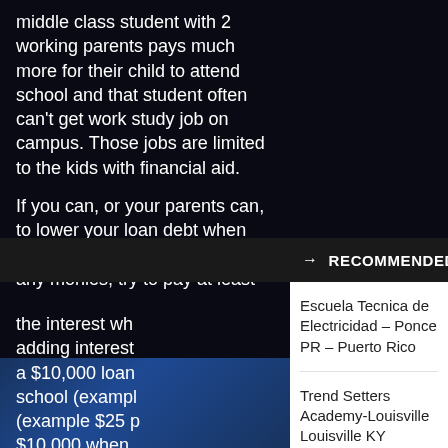middle class student with 2 working parents pays much more for their child to attend school and that student often can't get work study job on campus. Those jobs are limited to the kids with financial aid.

If you can, or your parents can, to lower your loan debt when you leave school, if you have any monies, try to pay at least the interest wh... adding interest... a $10,000 loan ... school (exampl... (example $25 p... $10,000 when...
→ RECOMMENDED
Escuela Tecnica de Electricidad – Ponce PR – Puerto Rico
Trend Setters Academy-Louisville Louisville KY
Dell Precision 7730 Mobile Workstation 17.3" i7-8850H 2.6G 512GB 16GB W10P R7WMT